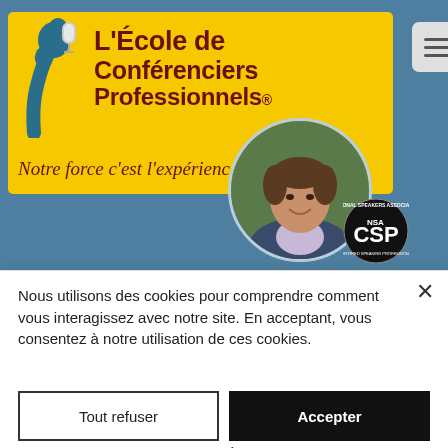[Figure (screenshot): Website screenshot of L'École de Conférenciers Professionnels with yellow logo banner, blue background, circular portrait of a man in a suit, and NSA/CSP badge. A hamburger menu icon is visible top right.]
Nous utilisons des cookies pour comprendre comment vous interagissez avec notre site. En acceptant, vous consentez à notre utilisation de ces cookies.
Tout refuser
Accepter
Paramètres